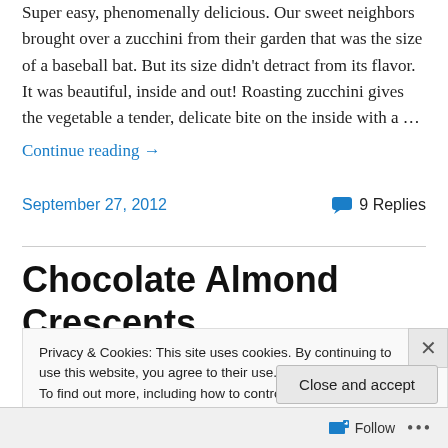Super easy, phenomenally delicious. Our sweet neighbors brought over a zucchini from their garden that was the size of a baseball bat. But its size didn't detract from its flavor. It was beautiful, inside and out! Roasting zucchini gives the vegetable a tender, delicate bite on the inside with a …
Continue reading →
September 27, 2012
9 Replies
Chocolate Almond Crescents
Privacy & Cookies: This site uses cookies. By continuing to use this website, you agree to their use.
To find out more, including how to control cookies, see here: Cookie Policy
Close and accept
Follow